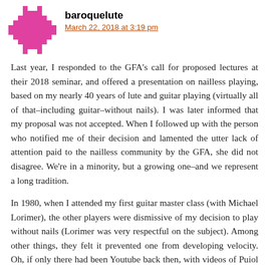[Figure (illustration): Pink/magenta pixel-art or mosaic style avatar icon with a cross/star geometric pattern on white background]
baroquelute
March 22, 2018 at 3:19 pm
Last year, I responded to the GFA's call for proposed lectures at their 2018 seminar, and offered a presentation on nailless playing, based on my nearly 40 years of lute and guitar playing (virtually all of that–including guitar–without nails). I was later informed that my proposal was not accepted. When I followed up with the person who notified me of their decision and lamented the utter lack of attention paid to the nailless community by the GFA, she did not disagree. We're in a minority, but a growing one–and we represent a long tradition.
In 1980, when I attended my first guitar master class (with Michael Lorimer), the other players were dismissive of my decision to play without nails (Lorimer was very respectful on the subject). Among other things, they felt it prevented one from developing velocity. Oh, if only there had been Youtube back then, with videos of Puiol and others playing...